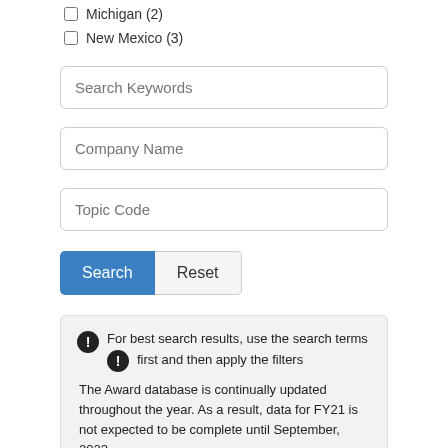Michigan (2)
New Mexico (3)
Search Keywords
Company Name
Topic Code
Search  Reset
For best search results, use the search terms first and then apply the filters
The Award database is continually updated throughout the year. As a result, data for FY21 is not expected to be complete until September, 2022.
Download all SBIR.gov award data either